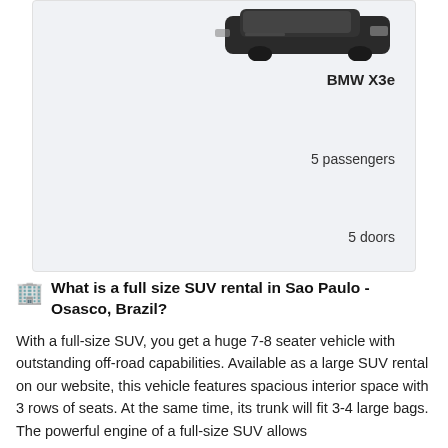[Figure (photo): Partial view of a dark-colored BMW X3e SUV, showing the rear/side portion of the vehicle against a light background]
BMW X3e
5 passengers
5 doors
🏢 What is a full size SUV rental in Sao Paulo - Osasco, Brazil?
With a full-size SUV, you get a huge 7-8 seater vehicle with outstanding off-road capabilities. Available as a large SUV rental on our website, this vehicle features spacious interior space with 3 rows of seats. At the same time, its trunk will fit 3-4 large bags. The powerful engine of a full-size SUV allows